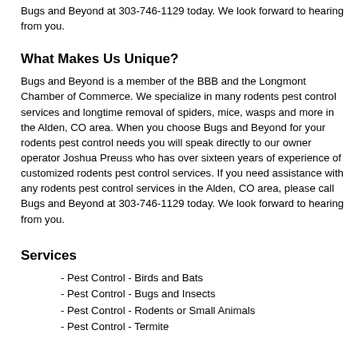Bugs and Beyond at 303-746-1129 today. We look forward to hearing from you.
What Makes Us Unique?
Bugs and Beyond is a member of the BBB and the Longmont Chamber of Commerce. We specialize in many rodents pest control services and longtime removal of spiders, mice, wasps and more in the Alden, CO area. When you choose Bugs and Beyond for your rodents pest control needs you will speak directly to our owner operator Joshua Preuss who has over sixteen years of experience of customized rodents pest control services. If you need assistance with any rodents pest control services in the Alden, CO area, please call Bugs and Beyond at 303-746-1129 today. We look forward to hearing from you.
Services
- Pest Control - Birds and Bats
- Pest Control - Bugs and Insects
- Pest Control - Rodents or Small Animals
- Pest Control - Termite